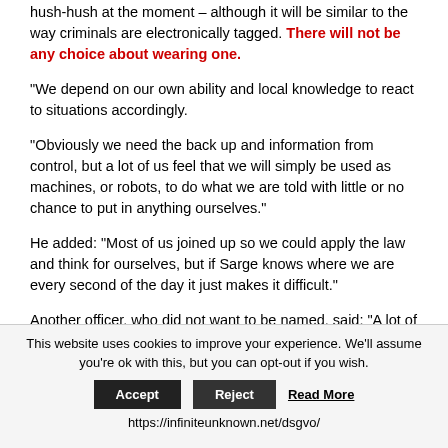hush-hush at the moment – although it will be similar to the way criminals are electronically tagged. There will not be any choice about wearing one.
“We depend on our own ability and local knowledge to react to situations accordingly.
“Obviously we need the back up and information from control, but a lot of us feel that we will simply be used as machines, or robots, to do what we are told with little or no chance to put in anything ourselves.”
He added: “Most of us joined up so we could apply the law and think for ourselves, but if Sarge knows where we are every second of the day it just makes it difficult.”
Another officer, who did not want to be named, said: “A lot of my time is spent speaking to people in cafes, parks or just wherever I’m approached. If I feel I’ve got my chief breathing down my neck to make another arrest I won’t
This website uses cookies to improve your experience. We’ll assume you’re ok with this, but you can opt-out if you wish.
Accept  Reject  Read More
https://infiniteunknown.net/dsgvo/